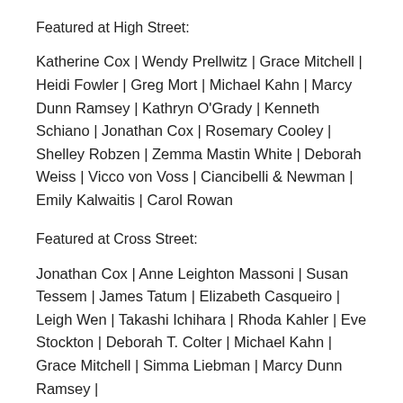Featured at High Street:
Katherine Cox | Wendy Prellwitz | Grace Mitchell | Heidi Fowler | Greg Mort | Michael Kahn | Marcy Dunn Ramsey | Kathryn O'Grady | Kenneth Schiano | Jonathan Cox | Rosemary Cooley | Shelley Robzen | Zemma Mastin White | Deborah Weiss | Vicco von Voss | Ciancibelli & Newman | Emily Kalwaitis | Carol Rowan
Featured at Cross Street:
Jonathan Cox | Anne Leighton Massoni | Susan Tessem | James Tatum | Elizabeth Casqueiro | Leigh Wen | Takashi Ichihara | Rhoda Kahler | Eve Stockton | Deborah T. Colter | Michael Kahn | Grace Mitchell | Simma Liebman | Marcy Dunn Ramsey |